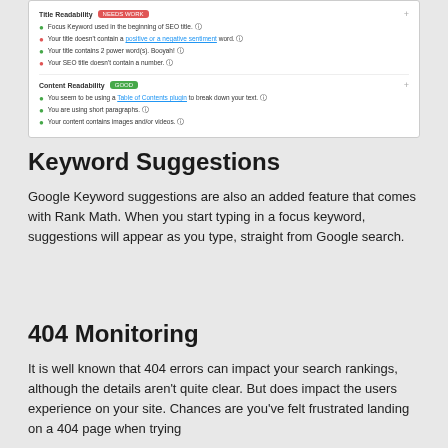[Figure (screenshot): Screenshot of an SEO plugin UI showing readability and focus keyword checks with green checkmarks and red X icons, including a 'Content Readability' section with a green 'GOOD' badge.]
Keyword Suggestions
Google Keyword suggestions are also an added feature that comes with Rank Math. When you start typing in a focus keyword, suggestions will appear as you type, straight from Google search.
404 Monitoring
It is well known that 404 errors can impact your search rankings, although the details aren't quite clear. But does impact the users experience on your site. Chances are you've felt frustrated landing on a 404 page when trying